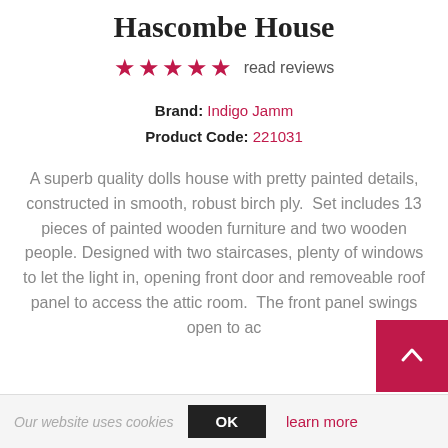Hascombe House
★★★★★  read reviews
Brand: Indigo Jamm
Product Code: 221031
A superb quality dolls house with pretty painted details, constructed in smooth, robust birch ply.  Set includes 13 pieces of painted wooden furniture and two wooden people.  Designed with two staircases, plenty of windows to let the light in, opening front door and removeable roof panel to access the attic room.  The front panel swings open to ac
Our website uses cookies   OK   learn more